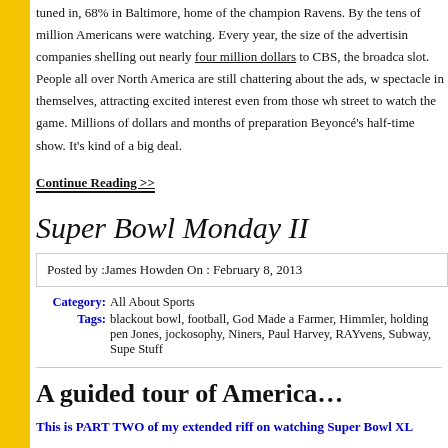tuned in, 68% in Baltimore, home of the champion Ravens. By the tens of million Americans were watching. Every year, the size of the advertising companies shelling out nearly four million dollars to CBS, the broadcast slot. People all over North America are still chattering about the ads, w spectacle in themselves, attracting excited interest even from those wh street to watch the game. Millions of dollars and months of preparation Beyonce's half-time show. It's kind of a big deal.
Continue Reading >>
Super Bowl Monday II
Posted by :James Howden On : February 8, 2013
Category: All About Sports
Tags: blackout bowl, football, God Made a Farmer, Himmler, holding pen Jones, jockosophy, Niners, Paul Harvey, RAYvens, Subway, Super Stuff
A guided tour of America…
This is PART TWO of my extended riff on watching Super Bowl XL